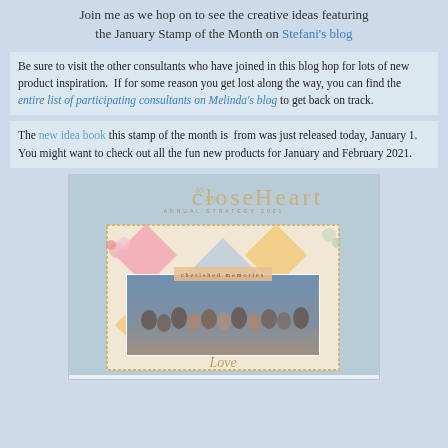Join me as we hop on to see the creative ideas featuring the January Stamp of the Month on Stefani's blog
Be sure to visit the other consultants who have joined in this blog hop for lots of new product inspiration.  If for some reason you get lost along the way, you can find the entire list of participating consultants on Melinda's blog to get back on track.
The new idea book this stamp of the month is  from was just released today, January 1.  You might want to check out all the fun new products for January and February 2021.
[Figure (photo): Cover of Close to My Heart idea book/catalog featuring a scrapbook layout with diamond shapes, a family photo, and floral decorations on a light blue fabric background]